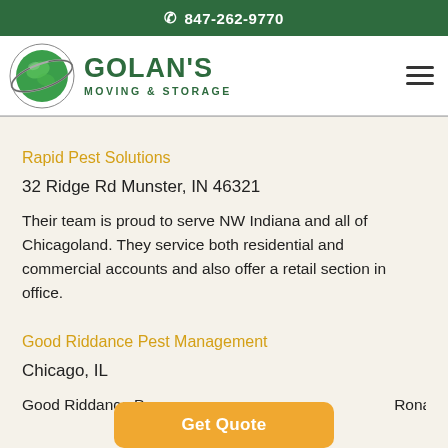847-262-9770
[Figure (logo): Golan's Moving & Storage logo with green globe and company name]
Rapid Pest Solutions
32 Ridge Rd Munster, IN 46321
Their team is proud to serve NW Indiana and all of Chicagoland. They service both residential and commercial accounts and also offer a retail section in office.
Good Riddance Pest Management
Chicago, IL
Good Riddance Pe... Ronald Worthy,